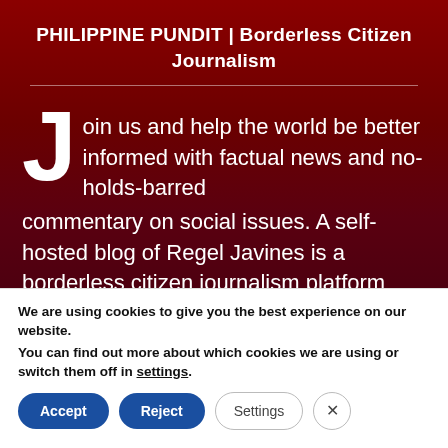PHILIPPINE PUNDIT | Borderless Citizen Journalism
Join us and help the world be better informed with factual news and no-holds-barred commentary on social issues. A self-hosted blog of Regel Javines is a borderless citizen journalism platform that also dabbles in featuring personal stories, business trends, technology, and anything worth sharing.
We are using cookies to give you the best experience on our website.
You can find out more about which cookies we are using or switch them off in settings.
Accept  Reject  Settings  ×